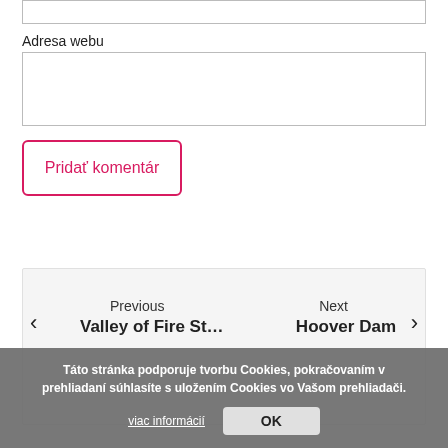Adresa webu
[Figure (screenshot): Empty input box for web address (Adresa webu)]
Pridať komentár
[Figure (screenshot): Navigation panel with Previous (Valley of Fire St...) and Next (Hoover Dam) links]
Táto stránka podporuje tvorbu Cookies, pokračovaním v prehliadaní súhlasíte s uložením Cookies vo Vašom prehliadači.
viac informácií
OK